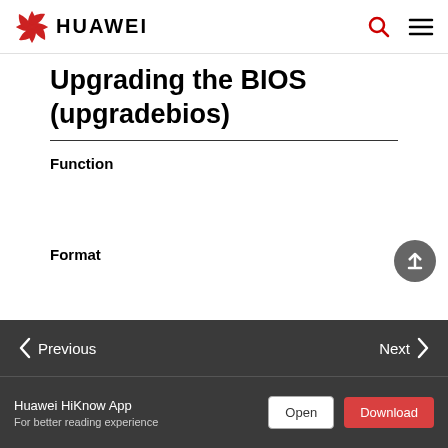HUAWEI
Upgrading the BIOS (upgradebios)
Function
Format
Parameters
Previous | Next
Huawei HiKnow App
For better reading experience